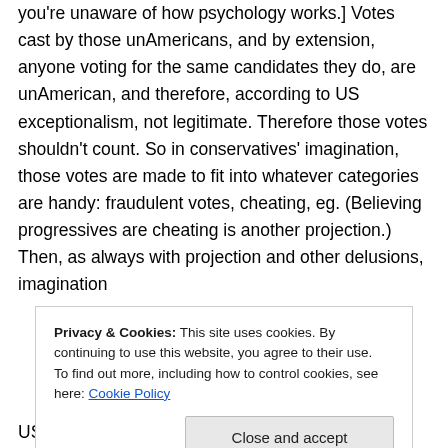you're unaware of how psychology works.] Votes cast by those unAmericans, and by extension, anyone voting for the same candidates they do, are unAmerican, and therefore, according to US exceptionalism, not legitimate. Therefore those votes shouldn't count. So in conservatives' imagination, those votes are made to fit into whatever categories are handy: fraudulent votes, cheating, eg. (Believing progressives are cheating is another projection.) Then, as always with projection and other delusions, imagination
Privacy & Cookies: This site uses cookies. By continuing to use this website, you agree to their use.
To find out more, including how to control cookies, see here: Cookie Policy
US exceptionalism is a form of collective